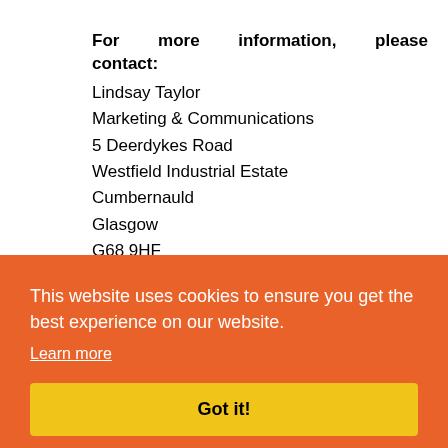For more information, please contact:
Lindsay Taylor
Marketing & Communications
5 Deerdykes Road
Westfield Industrial Estate
Cumbernauld
Glasgow
G68 9HF
+44 (0)1236 723 300
uk.opticalexpress.com
This website uses cookies to ensure you get the best experience on our website.
Learn more
Got it!